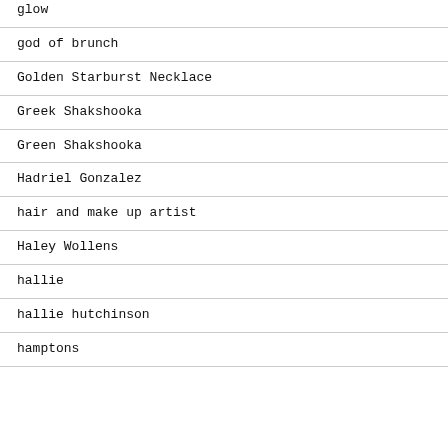glow
god of brunch
Golden Starburst Necklace
Greek Shakshooka
Green Shakshooka
Hadriel Gonzalez
hair and make up artist
Haley Wollens
hallie
hallie hutchinson
hamptons